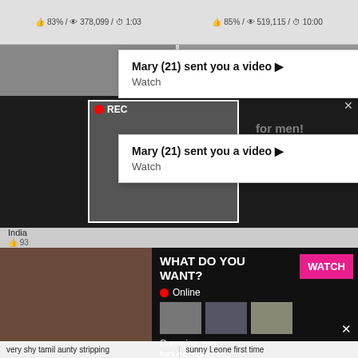83% / 378,099 / 1:03
85% / 519,115 / 10:00
Mary (21) sent you a video ▶ Watch
REC
Mary (21) sent you a video ▶ Watch
for men! Find bad girls here
India 93
WHAT DO YOU WANT? WATCH Online Cumming, ass fucking, squirt or... • ADS
very shy tamil aunty stripping
sunny Leone first time